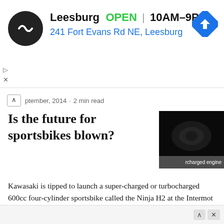[Figure (other): Advertisement banner for a store in Leesburg showing logo, OPEN status, hours 10AM-9PM, address 241 Fort Evans Rd NE Leesburg, and navigation icon]
ptember, 2014 · 2 min read
Is the future for sportsbikes blown?
[Figure (photo): Dark photo of a motorcycle supercharged engine with label 'rcharged engine']
Kawasaki is tipped to launch a super-charged or turbocharged 600cc four-cylinder sportsbike called the Ninja H2 at the Intermot show in Cologne on September 30 and bring back its historic company emblem.